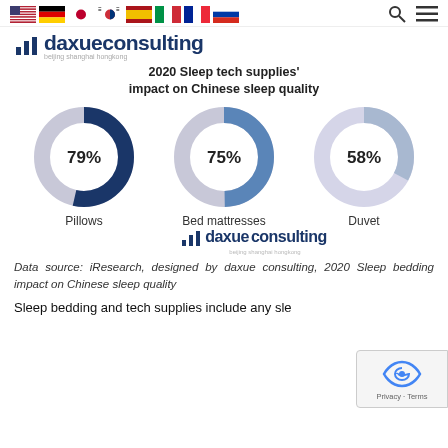Flag icons: US, Germany, Japan, Korea, Spain, Italy, France, Russia | Search and menu icons
[Figure (logo): Daxue Consulting logo with bar chart icon and tagline 'beijing shanghai hongkong']
2020 Sleep tech supplies' impact on Chinese sleep quality
[Figure (donut-chart): 2020 Sleep tech supplies' impact on Chinese sleep quality]
[Figure (logo): Daxue Consulting watermark logo]
Data source: iResearch, designed by daxue consulting, 2020 Sleep bedding impact on Chinese sleep quality
Sleep bedding and tech supplies include any sle...